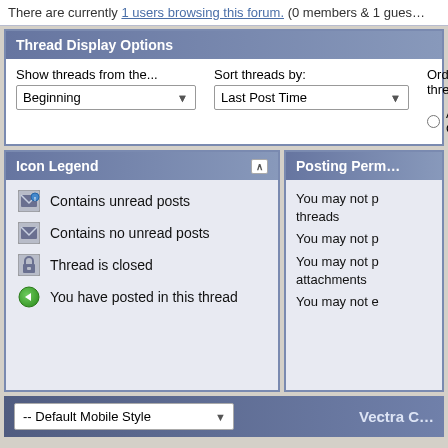There are currently 1 users browsing this forum. (0 members & 1 guest
Thread Display Options
Show threads from the... Beginning | Sort threads by: Last Post Time | Order threads in... Ascending Order
Icon Legend
Contains unread posts
Contains no unread posts
Thread is closed
You have posted in this thread
Posting Perm
You may not p threads
You may not p
You may not p attachments
You may not e
-- Default Mobile Style
Vectra C
All times are GMT +1. The time now is 12
Powered by vBulletin® Copyright ©2000 - 2022, Jelsoft Enterprise Extra Tabs by vBulletin Hispano
vBulletin Optimisation provided by vB Optimise (Lite) - vBulletin Mods & Addons Co User Alert System provided by Advanced User Tagging (Lite) - vBulletin Mods & Add Ltd. Copyright 2005 - 2019 © Vectra C - Signum - O